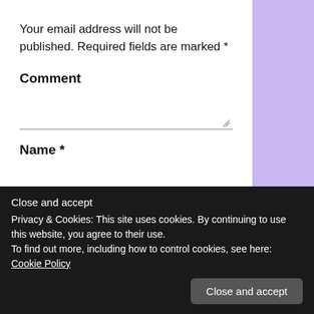Your email address will not be published. Required fields are marked *
Comment
Name *
Email *
Close and accept
Privacy & Cookies: This site uses cookies. By continuing to use this website, you agree to their use.
To find out more, including how to control cookies, see here: Cookie Policy
list: